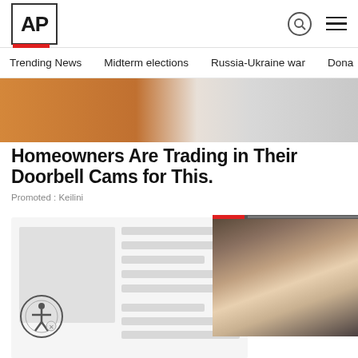AP
Trending News   Midterm elections   Russia-Ukraine war   Dona
[Figure (photo): Hero image showing a hand holding an orange power drill and circuit breaker components]
Homeowners Are Trading in Their Doorbell Cams for This.
Promoted : Keilini
[Figure (screenshot): Content loading card with gray placeholder image and skeleton text lines, accessibility icon overlay]
[Figure (photo): Video overlay showing a woman smiling, with red progress bar at top and X close button]